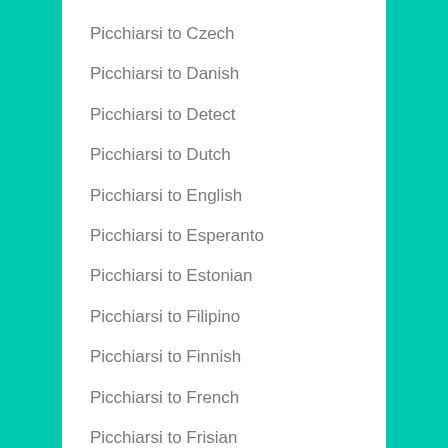Picchiarsi to Czech
Picchiarsi to Danish
Picchiarsi to Detect
Picchiarsi to Dutch
Picchiarsi to English
Picchiarsi to Esperanto
Picchiarsi to Estonian
Picchiarsi to Filipino
Picchiarsi to Finnish
Picchiarsi to French
Picchiarsi to Frisian
Picchiarsi to Galician
Picchiarsi to Georgian
Picchiarsi to G…